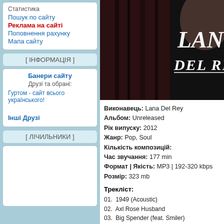Статистика
Пошук по сайту
Реклама на сайті
Поповнення рахунку
Мапа сайту
[ ІНФОРМАЦІЯ ]
Банери сайту
Друзі та обрані:
Гуртом - сайт всього українського!
Інші Друзі
[ ЛІЧИЛЬНИКИ ]
[Figure (photo): Album cover for Lana Del Rey Unreleased showing partial face with dark hair and stylized Lana Del Rey logo text]
Виконавець: Lana Del Rey
Альбом: Unreleased
Рік випуску: 2012
Жанр: Pop, Soul
Кількість композицій:
Час звучання: 177 min
Формат | Якість: MP3 | 192-320 kbps
Розмір: 323 mb
Трекліст:
01. 1949 (Acoustic)
02. Axl Rose Husband
03. Big Spender (feat. Smiler)
04. Blue Ribbon
05. Children Of The Bad Revolution
06. Come When You Call Me America (Version
07. Come When You Call Me America (Version
08. Daddy Issues (feat. Aaron LaCrate)